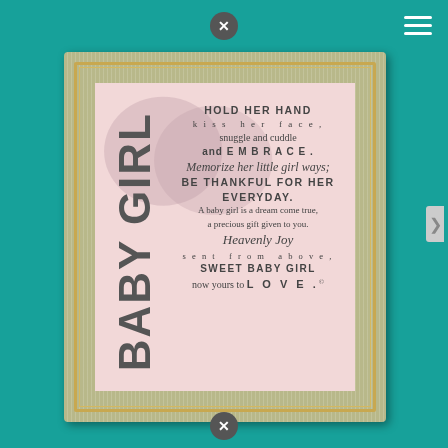[Figure (photo): A decorative framed print with a pink background featuring two overlapping heart shapes. Vertical text 'BABY GIRL' runs along the left side. A poem reads: HOLD HER HAND / kiss her face, / snuggle and cuddle / and EMBRACE. / Memorize her little girl ways; / BE THANKFUL FOR HER / EVERYDAY. / A baby girl is a dream come true, / a precious gift given to you. / Heavenly Joy / sent from above, / SWEET BABY GIRL / now yours to LOVE. The frame has a weathered green/gold finish with beaded inner border.]